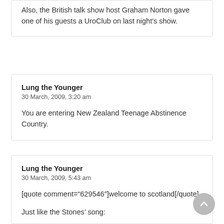Also, the British talk show host Graham Norton gave one of his guests a UroClub on last night's show.
Lung the Younger
30 March, 2009, 3:20 am
You are entering New Zealand Teenage Abstinence Country.
Lung the Younger
30 March, 2009, 5:43 am
[quote comment="629546"]welcome to scotland[/quote]
Just like the Stones' song: